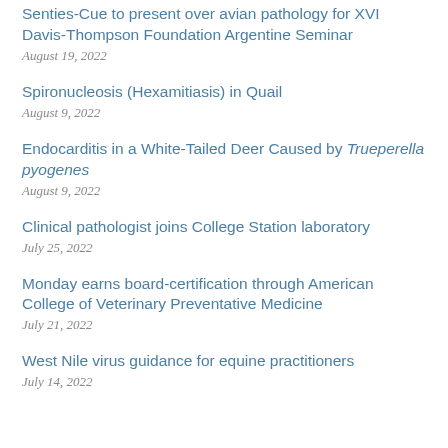Senties-Cue to present over avian pathology for XVI Davis-Thompson Foundation Argentine Seminar
August 19, 2022
Spironucleosis (Hexamitiasis) in Quail
August 9, 2022
Endocarditis in a White-Tailed Deer Caused by Trueperella pyogenes
August 9, 2022
Clinical pathologist joins College Station laboratory
July 25, 2022
Monday earns board-certification through American College of Veterinary Preventative Medicine
July 21, 2022
West Nile virus guidance for equine practitioners
July 14, 2022